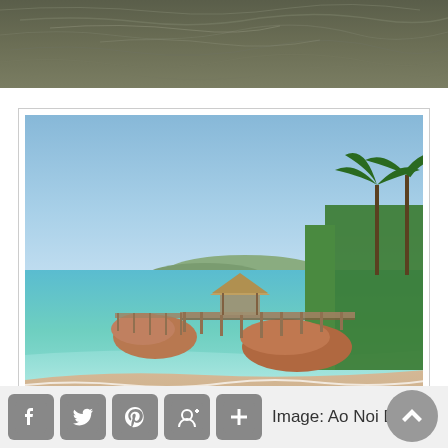[Figure (photo): Close-up photo of dark murky water surface with ripples and waves, olive/gray-green tones, cropped at top of page]
[Figure (photo): Beach photo of Ao Noi Beach showing clear turquoise water, sandy beach, large brown rocks, a wooden pier/jetty extending into the sea with a thatched pavilion, tropical palm trees and green vegetation on the right, blue sky with slight haze in background]
Image: Ao Noi Beach